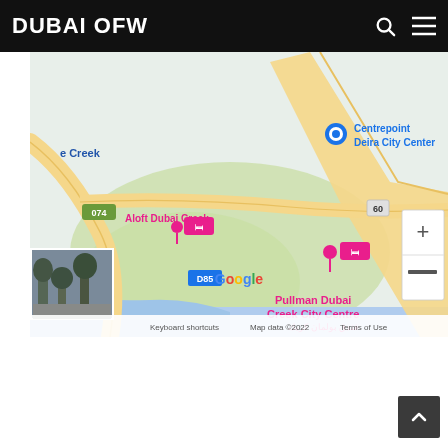DUBAI OFW
[Figure (map): Google Maps screenshot showing Dubai Creek area with landmarks: Aloft Dubai Creek, Pullman Dubai Creek City Centre (فندق بولمان كريك سيتي سنتر دبي), Centrepoint Deira City Center, route D85, roads 074, 60, 61, zoom controls, street view thumbnail, Google logo, Keyboard shortcuts, Map data ©2022, Terms of Use.]